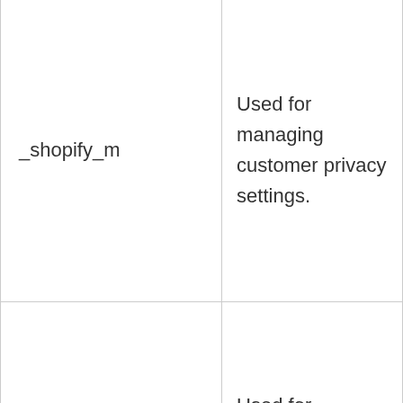| Cookie Name | Description |
| --- | --- |
| _shopify_m | Used for managing customer privacy settings. |
| _shopify_tm | Used for managing customer privacy settings. |
| _shopify_tw | Used for managing customer privacy settings. |
|  |  |